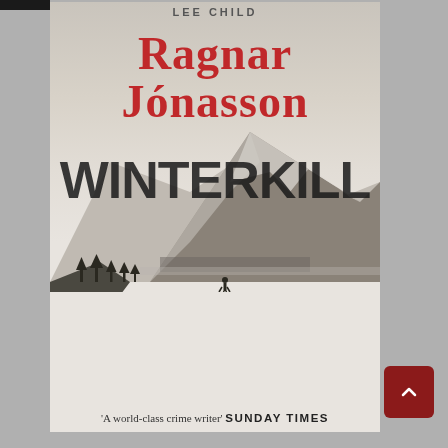[Figure (illustration): Book cover of 'Winterkill' by Ragnar Jónasson with foreword by Lee Child. The cover shows a black and white winter landscape with a snow-covered mountain, a fjord town in the middle distance, and a lone figure walking across a snowy plain leaving footprints. Author name in red serif font at top, title in large dark distressed font in the middle. Blurb at the bottom reads 'A world-class crime writer' SUNDAY TIMES.]
RAGNAR JÓNASSON
WINTERKILL
LEE CHILD
'A world-class crime writer' SUNDAY TIMES